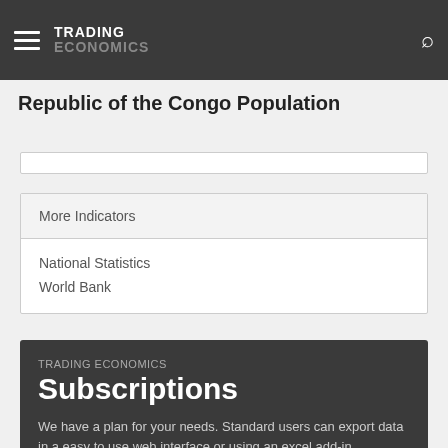TRADING ECONOMICS
Republic of the Congo Population
More Indicators
National Statistics
World Bank
TRADING ECONOMICS
Subscriptions
We have a plan for your needs. Standard users can export data in a easy to use web interface or using an excel add-in. Advanced users can use